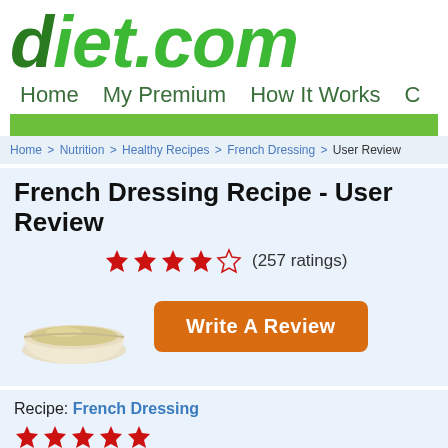diet.com
Home   My Premium   How It Works
Home > Nutrition > Healthy Recipes > French Dressing > User Review
French Dressing Recipe - User Review
[Figure (other): Star rating: 4 out of 5 stars (257 ratings) with a Write A Review button and food image of french dressing in a bowl]
Recipe: French Dressing
[Figure (other): 5 red filled stars rating]
Fast Weight Loss Tips For Men Will Help
Reviewed By: Shatisse